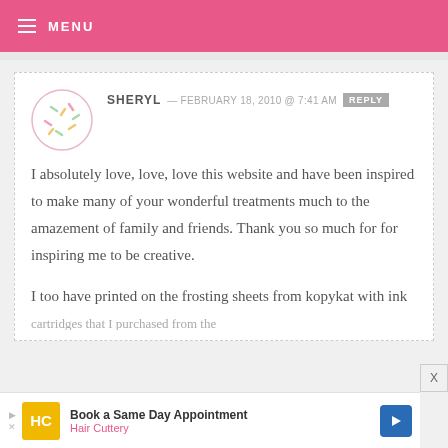MENU
SHERYL — FEBRUARY 18, 2010 @ 7:41 AM REPLY

I absolutely love, love, love this website and have been inspired to make many of your wonderful treatments much to the amazement of family and friends. Thank you so much for for inspiring me to be creative.

I too have printed on the frosting sheets from kopykat with ink cartridges that I purchased from the
Book a Same Day Appointment Hair Cuttery